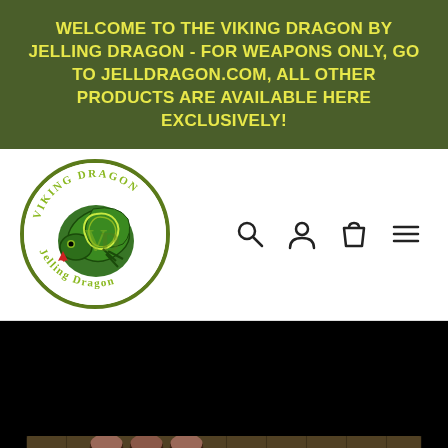WELCOME TO THE VIKING DRAGON BY JELLING DRAGON - FOR WEAPONS ONLY, GO TO JELLDRAGON.COM, ALL OTHER PRODUCTS ARE AVAILABLE HERE EXCLUSIVELY!
[Figure (logo): Viking Dragon by Jelling Dragon logo - circular Celtic knotwork design with a dragon, in green and yellow, with red accent. Text reads 'Viking Dragon' at top and 'Jelling Dragon' at bottom.]
[Figure (screenshot): Navigation bar icons: search (magnifying glass), account (person silhouette), cart (shopping bag), and hamburger menu, displayed in dark/black color on white background.]
[Figure (photo): Hero image with black background showing game pieces (checker-like discs in brown/reddish colors) on a wooden board, partially visible at the bottom of the frame.]
EARN OR SPEND DRAGON POINTS